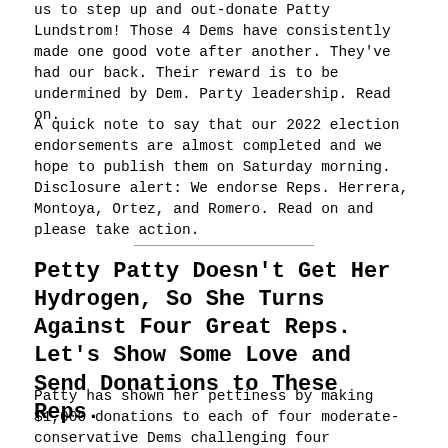us to step up and out-donate Patty Lundstrom! Those 4 Dems have consistently made one good vote after another. They've had our back. Their reward is to be undermined by Dem. Party leadership. Read on.
A quick note to say that our 2022 election endorsements are almost completed and we hope to publish them on Saturday morning. Disclosure alert: We endorse Reps. Herrera, Montoya, Ortez, and Romero. Read on and please take action.
Petty Patty Doesn't Get Her Hydrogen, So She Turns Against Four Great Reps. Let's Show Some Love and Send Donations to These Reps.
Patty has shown her pettiness by making $1,000 donations to each of four moderate-conservative Dems challenging four outstanding incumbent Dem. Reps, a move that at least one veteran Dem legislator has never seen before. From today's